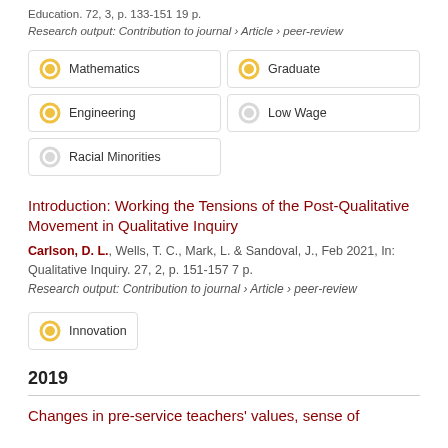Education. 72, 3, p. 133-151 19 p.
Research output: Contribution to journal › Article › peer-review
Mathematics
Graduate
Engineering
Low Wage
Racial Minorities
Introduction: Working the Tensions of the Post-Qualitative Movement in Qualitative Inquiry
Carlson, D. L., Wells, T. C., Mark, L. & Sandoval, J., Feb 2021, In: Qualitative Inquiry. 27, 2, p. 151-157 7 p.
Research output: Contribution to journal › Article › peer-review
Innovation
2019
Changes in pre-service teachers' values, sense of